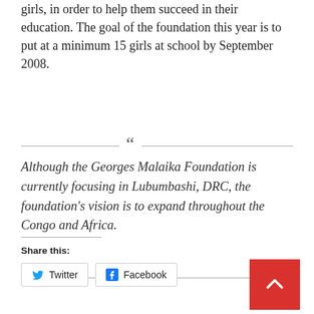girls, in order to help them succeed in their education. The goal of the foundation this year is to put at a minimum 15 girls at school by September 2008.
Although the Georges Malaika Foundation is currently focusing in Lubumbashi, DRC, the foundation's vision is to expand throughout the Congo and Africa.
Share this:
Twitter
Facebook